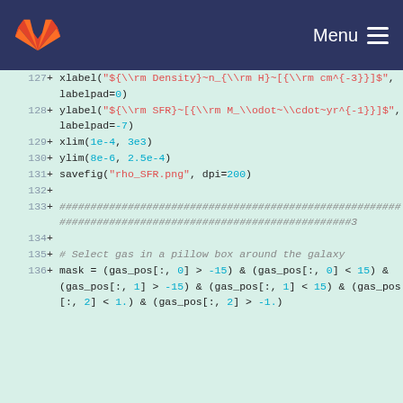GitLab — Menu
127  + xlabel("${\\rm Density}~n_{\\rm H}~[{\\rm cm^{-3}}]$", labelpad=0)
128  + ylabel("${\\rm SFR}~[{\\rm M_\\odot~\\cdot~yr^{-1}}]$", labelpad=-7)
129  + xlim(1e-4, 3e3)
130  + ylim(8e-6, 2.5e-4)
131  + savefig("rho_SFR.png", dpi=200)
132  +
133  + ######################################################################################################3
134  +
135  + # Select gas in a pillow box around the galaxy
136  + mask = (gas_pos[:, 0] > -15) & (gas_pos[:, 0] < 15) & (gas_pos[:, 1] > -15) & (gas_pos[:, 1] < 15) & (gas_pos[:, 2] < 1.) & (gas_pos[:, 2] > -1.)